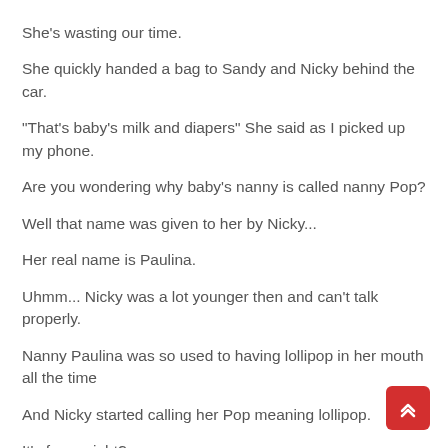She's wasting our time.
She quickly handed a bag to Sandy and Nicky behind the car.
"That's baby's milk and diapers" She said as I picked up my phone.
Are you wondering why baby's nanny is called nanny Pop?
Well that name was given to her by Nicky...
Her real name is Paulina.
Uhmm... Nicky was a lot younger then and can't talk properly.
Nanny Paulina was so used to having lollipop in her mouth all the time
And Nicky started calling her Pop meaning lollipop.
It's funny right?